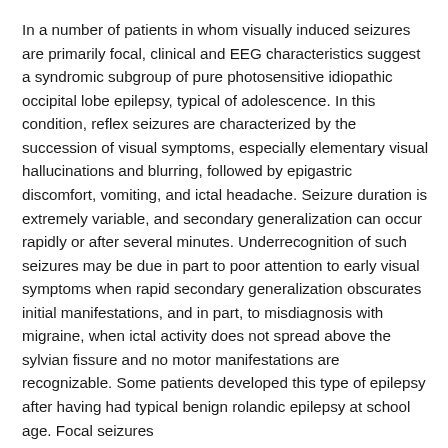In a number of patients in whom visually induced seizures are primarily focal, clinical and EEG characteristics suggest a syndromic subgroup of pure photosensitive idiopathic occipital lobe epilepsy, typical of adolescence. In this condition, reflex seizures are characterized by the succession of visual symptoms, especially elementary visual hallucinations and blurring, followed by epigastric discomfort, vomiting, and ictal headache. Seizure duration is extremely variable, and secondary generalization can occur rapidly or after several minutes. Underrecognition of such seizures may be due in part to poor attention to early visual symptoms when rapid secondary generalization obscurates initial manifestations, and in part, to misdiagnosis with migraine, when ictal activity does not spread above the sylvian fissure and no motor manifestations are recognizable. Some patients developed this type of epilepsy after having had typical benign rolandic epilepsy at school age. Focal seizures